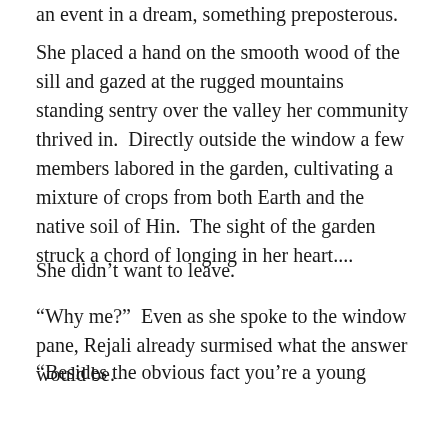an event in a dream, something preposterous.
She placed a hand on the smooth wood of the sill and gazed at the rugged mountains standing sentry over the valley her community thrived in.  Directly outside the window a few members labored in the garden, cultivating a mixture of crops from both Earth and the native soil of Hin.  The sight of the garden struck a chord of longing in her heart....
She didn’t want to leave.
“Why me?”  Even as she spoke to the window pane, Rejali already surmised what the answer would be.
“Besides the obvious fact you’re a young